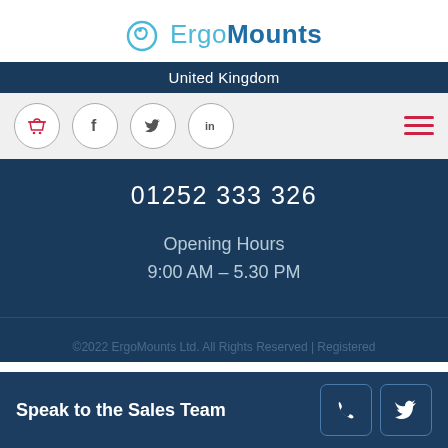ErgoMounts
United Kingdom
[Figure (screenshot): Navigation icons row with shopping basket, Facebook, Twitter, LinkedIn circles and hamburger menu]
01252 333 326
Opening Hours
9:00 AM – 5.30 PM
©2022 ErgoMounts Ltd. All Rights Reserved | Registered
Speak to the Sales Team